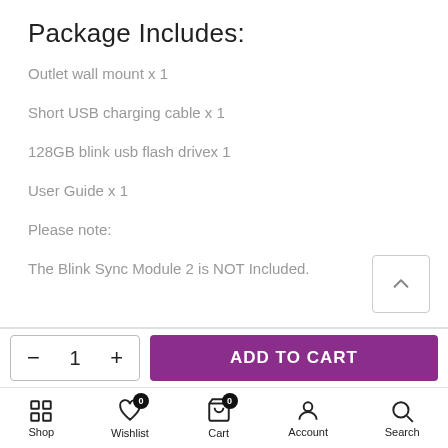Package Includes:
Outlet wall mount x 1
Short USB charging cable x 1
128GB blink usb flash drivex 1
User Guide x 1
Please note:
The Blink Sync Module 2 is NOT Included.
- 1 + ADD TO CART
Shop | Wishlist 0 | Cart 0 | Account | Search